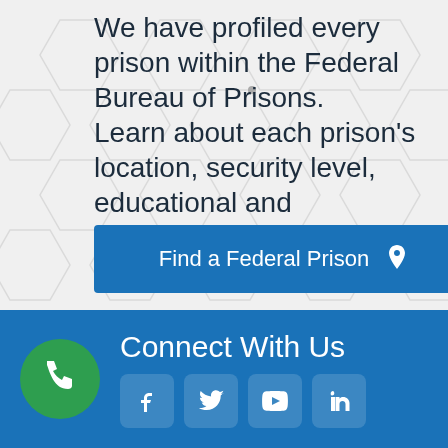We have profiled every prison within the Federal Bureau of Prisons. Learn about each prison's location, security level, educational and recreational offerings, and much more.
[Figure (other): Blue button with text 'Find a Federal Prison' and a location pin icon]
Connect With Us
[Figure (other): Green phone icon circle and four social media icons: Facebook, Twitter, YouTube, LinkedIn]